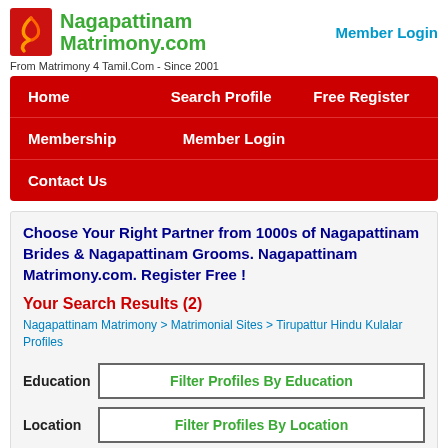[Figure (logo): Nagapattinam Matrimony.com logo with red icon and green text]
Member Login
From Matrimony 4 Tamil.Com - Since 2001
Home
Search Profile
Free Register
Membership
Member Login
Contact Us
Choose Your Right Partner from 1000s of Nagapattinam Brides & Nagapattinam Grooms. Nagapattinam Matrimony.com. Register Free !
Your Search Results (2)
Nagapattinam Matrimony > Matrimonial Sites > Tirupattur Hindu Kulalar Profiles
Education
Filter Profiles By Education
Location
Filter Profiles By Location